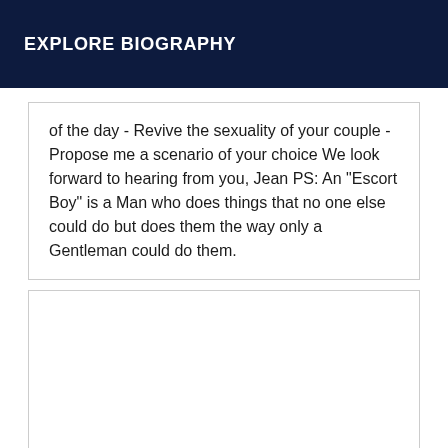EXPLORE BIOGRAPHY
of the day - Revive the sexuality of your couple - Propose me a scenario of your choice We look forward to hearing from you, Jean PS: An "Escort Boy" is a Man who does things that no one else could do but does them the way only a Gentleman could do them.
[Figure (other): Empty white box with border, no content]